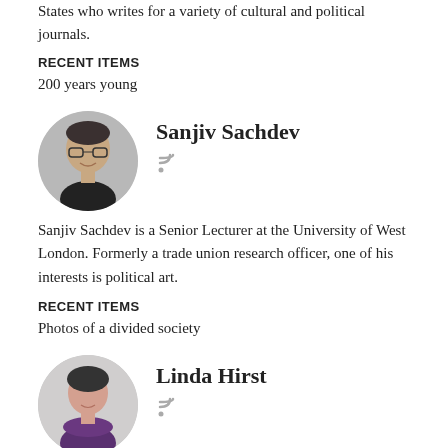States who writes for a variety of cultural and political journals.
RECENT ITEMS
200 years young
[Figure (photo): Circular portrait photo of Sanjiv Sachdev, a man with glasses and short dark hair, smiling]
Sanjiv Sachdev
Sanjiv Sachdev is a Senior Lecturer at the University of West London. Formerly a trade union research officer, one of his interests is political art.
RECENT ITEMS
Photos of a divided society
[Figure (photo): Circular portrait photo of Linda Hirst, a woman with short dark hair, wearing a purple scarf]
Linda Hirst
Dr Linda Hirst is Head of Vocal Studies at Trinity Laban